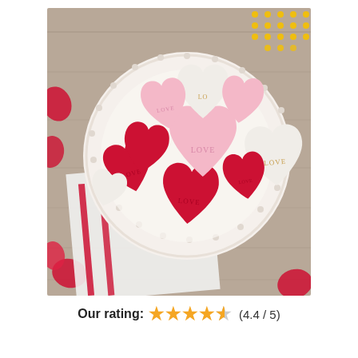[Figure (photo): A white plate piled with heart-shaped cookies in red, pink, and white colors, each embossed with the word LOVE in gold or matching color lettering. The plate sits on a white cloth napkin with red ribbon stripes on a wooden table. Red rose petals and yellow decorative elements are visible around the edges.]
Our rating: ★★★★★ (4.4 / 5)